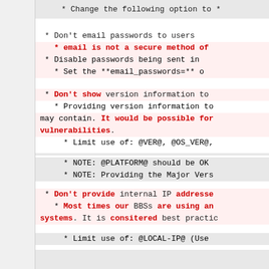* Change the following option to *
- * Don't email passwords to users
- * email is not a secure method of
- * Disable passwords being sent in
* Set the **email_passwords=** o
- * Don't show version information to
- * Providing version information to
may contain. It would be possible for vulnerabilities.
- * Limit use of: @VER@, @OS_VER@,
- * NOTE: @PLATFORM@ should be OK
- * NOTE: Providing the Major Vers
- * Don't provide internal IP addresses
- * Most times our BBSs are using an systems. It is consitered best practic
- * Limit use of: @LOCAL-IP@ (Use